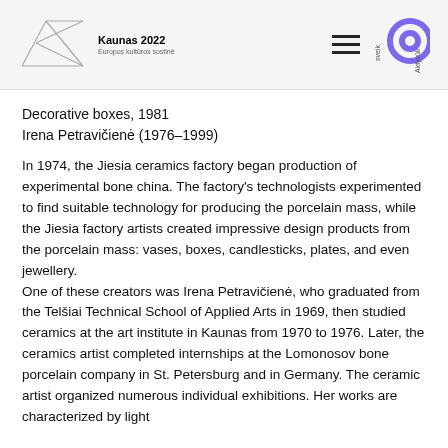Kaunas 2022 — Europos kultūros sostinė [header with logo and navigation]
Decorative boxes, 1981
Irena Petravičienė (1976–1999)
In 1974, the Jiesia ceramics factory began production of experimental bone china. The factory's technologists experimented to find suitable technology for producing the porcelain mass, while the Jiesia factory artists created impressive design products from the porcelain mass: vases, boxes, candlesticks, plates, and even jewellery.
One of these creators was Irena Petravičienė, who graduated from the Telšiai Technical School of Applied Arts in 1969, then studied ceramics at the art institute in Kaunas from 1970 to 1976. Later, the ceramics artist completed internships at the Lomonosov bone porcelain company in St. Petersburg and in Germany. The ceramic artist organized numerous individual exhibitions. Her works are characterized by light